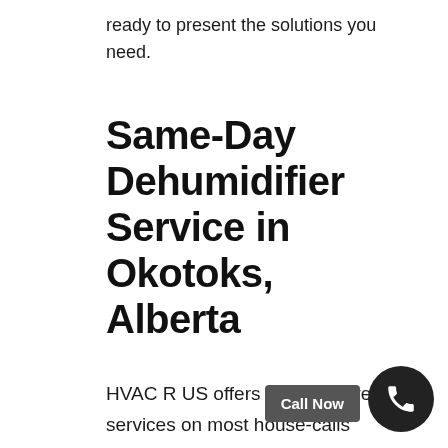ready to present the solutions you need.
Same-Day Dehumidifier Service in Okotoks, Alberta
HVAC R US offers same-day repair services on most house-calls placed before noon. Our repair professionals come ready for every job and are able to complete most repairs in one visit. Our techs carry repair parts to 95% of the problems we encounter with